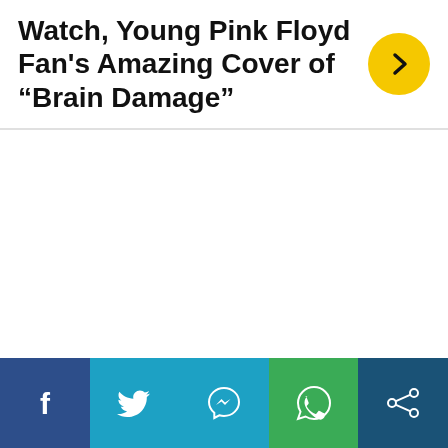Watch, Young Pink Floyd Fan's Amazing Cover of “Brain Damage”
[Figure (other): White blank content area in the middle of the page]
Social share bar with Facebook, Twitter, Messenger, WhatsApp, and Share icons